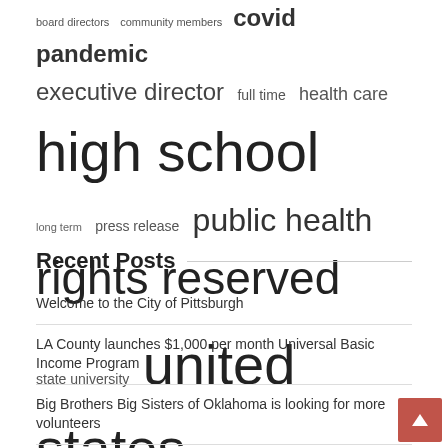[Figure (other): Tag cloud with terms of varying sizes: board directors, community members, covid pandemic, executive director, full time, health care, high school, long term, press release, public health, rights reserved, state university, united states, vice president]
Recent Posts
Welcome to the City of Pittsburgh
LA County launches $1,000 per month Universal Basic Income Program
Big Brothers Big Sisters of Oklahoma is looking for more volunteers
Cannabis on fire: How debt financing hurts small and medium-sized cannabis businesses
Gloriavale: Father speaks in court about culture of 'public shaming' in community